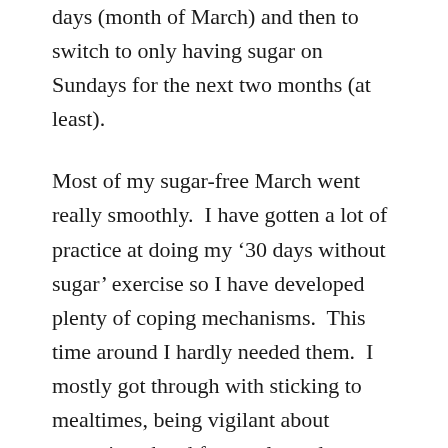days (month of March) and then to switch to only having sugar on Sundays for the next two months (at least).
Most of my sugar-free March went really smoothly.  I have gotten a lot of practice at doing my ‘30 days without sugar’ exercise so I have developed plenty of coping mechanisms.  This time around I hardly needed them.  I mostly got through with sticking to mealtimes, being vigilant about preparing ahead for meals, and drinking lots of water.  I think that this is because since my last attempt, I have actually reduced the amount of sugar I keep around me significantly.  However, there’s a big glaring spot in my life where sugar is ALWAYS present – at the office.  Our office has a wall-o-snacks for the taking (this is some Silicon Valley thing I have